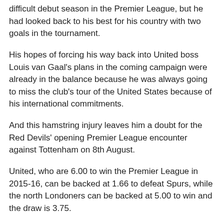difficult debut season in the Premier League, but he had looked back to his best for his country with two goals in the tournament.
His hopes of forcing his way back into United boss Louis van Gaal's plans in the coming campaign were already in the balance because he was always going to miss the club's tour of the United States because of his international commitments.
And this hamstring injury leaves him a doubt for the Red Devils' opening Premier League encounter against Tottenham on 8th August.
United, who are 6.00 to win the Premier League in 2015-16, can be backed at 1.66 to defeat Spurs, while the north Londoners can be backed at 5.00 to win and the draw is 3.75.
Don't forget all Premier League matches are covered by the bet365 Euro Soccer Bonus, where you could earn a bonus of up to 100%